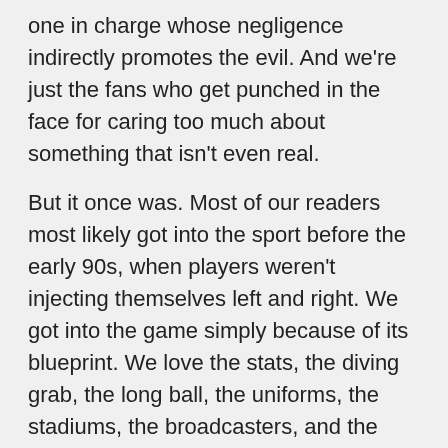one in charge whose negligence indirectly promotes the evil. And we're just the fans who get punched in the face for caring too much about something that isn't even real.
But it once was. Most of our readers most likely got into the sport before the early 90s, when players weren't injecting themselves left and right. We got into the game simply because of its blueprint. We love the stats, the diving grab, the long ball, the uniforms, the stadiums, the broadcasters, and the rivalries. Most importantly, we love the 162-game season, because its constant loyalty never wavers like a girlfriend who's still in community college and much too attractive for us. The game will be there in April, but also in October, unlike so many things in life.
Baseball can be fixed, my friends, and in a good way. While casual fans quit watching out of disgust and sponsors pull their support because of the negative